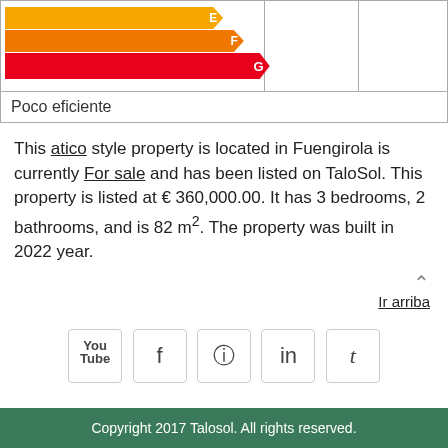[Figure (infographic): Energy efficiency rating bars showing E, F, and G levels with arrow-shaped colored bars (orange for E and F, red for G)]
| Poco eficiente |
This atico style property is located in Fuengirola is currently For sale and has been listed on TaloSol. This property is listed at € 360,000.00. It has 3 bedrooms, 2 bathrooms, and is 82 m². The property was built in 2022 year.
Ir arriba
[Figure (infographic): Social media share buttons: YouTube, Facebook, Pinterest, LinkedIn, Tumblr]
Copyright 2017 Talosol. All rights reserved.